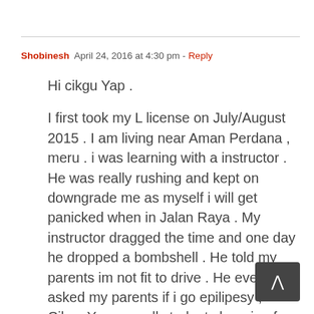Shobinesh   April 24, 2016 at 4:30 pm - Reply
Hi cikgu Yap .

I first took my L license on July/August 2015 . I am living near Aman Perdana , meru . i was learning with a instructor . He was really rushing and kept on downgrade me as myself i will get panicked when in Jalan Raya . My instructor dragged the time and one day he dropped a bombshell . He told my parents im not fit to drive . He even asked my parents if i go epilipesy , Cikgu Yap . we all students learning for 1st time . We tend to get panicked , That day i remembered , i was driving around the driving school , when the instructor shouted at me just because im in wrong lane . I got panicked and